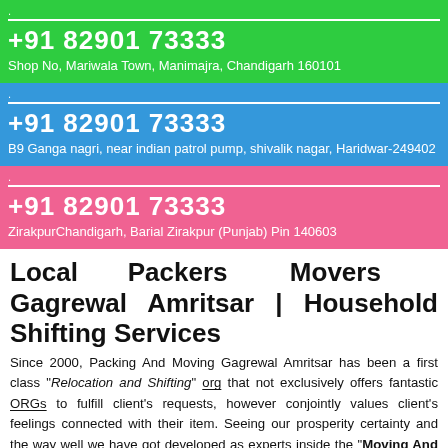.
+91 82901 73333
Shop No, Mariwala Town, Manimajra, Chandigarh 160101
.
+91 82901 73333
B9 Ganga nagri, near indian patrol pump, shivalik nagar, Haridwar-249402
.
+91 82901 73333
ZirakpurChandigarh, Barial Zirakpur (Punjab) Pin 140603
Local Packers Movers Gagrewal Amritsar | Household Shifting Services
Since 2000, Packing And Moving Gagrewal Amritsar has been a first class "Relocation and Shifting" org that not exclusively offers fantastic ORGs to fulfill client's requests, however conjointly values client's feelings connected with their item. Seeing our prosperity certainty and the way well we have got developed as experts inside the "Moving And Relocation Services", we have got been consulted with mixed bag of prestigious recompenses inside the